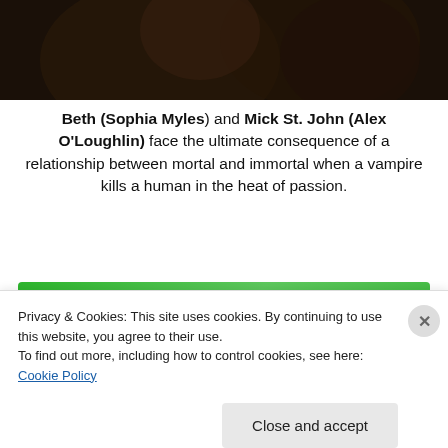[Figure (photo): Dark photo showing two people in dim lighting, cropped at top of page]
Beth (Sophia Myles) and Mick St. John (Alex O'Loughlin) face the ultimate consequence of a relationship between mortal and immortal when a vampire kills a human in the heat of passion.
[Figure (infographic): Jetpack advertisement banner with green background, Jetpack logo and 'Secure Your Site' button]
Privacy & Cookies: This site uses cookies. By continuing to use this website, you agree to their use.
To find out more, including how to control cookies, see here: Cookie Policy
Close and accept